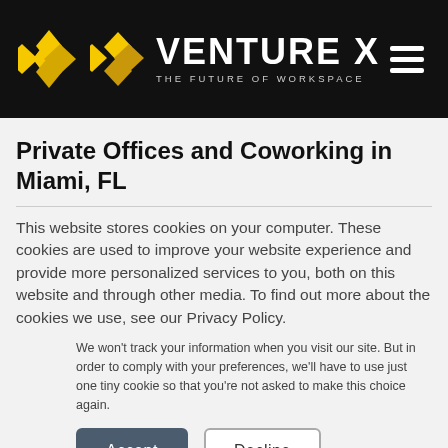[Figure (logo): Venture X logo with yellow diamond pattern icon and white bold text 'VENTURE X' with subtitle 'THE FUTURE OF WORKSPACE' on black background, with hamburger menu icon on the right]
Private Offices and Coworking in Miami, FL
This website stores cookies on your computer. These cookies are used to improve your website experience and provide more personalized services to you, both on this website and through other media. To find out more about the cookies we use, see our Privacy Policy.
We won't track your information when you visit our site. But in order to comply with your preferences, we'll have to use just one tiny cookie so that you're not asked to make this choice again.